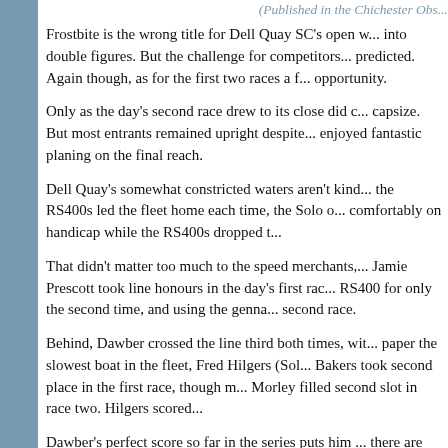(Published in the Chichester Obs...
Frostbite is the wrong title for Dell Quay SC's open w... into double figures. But the challenge for competitors... predicted. Again though, as for the first two races a f... opportunity.
Only as the day's second race drew to its close did c... capsize. But most entrants remained upright despite... enjoyed fantastic planing on the final reach.
Dell Quay's somewhat constricted waters aren't kind... the RS400s led the fleet home each time, the Solo o... comfortably on handicap while the RS400s dropped t...
That didn't matter too much to the speed merchants,... Jamie Prescott took line honours in the day's first rac... RS400 for only the second time, and using the genna... second race.
Behind, Dawber crossed the line third both times, wit... paper the slowest boat in the fleet, Fred Hilgers (Sol... Bakers took second place in the first race, though m... Morley filled second slot in race two. Hilgers scored...
Dawber's perfect score so far in the series puts him ... there are plenty of opportunities still for others, with...